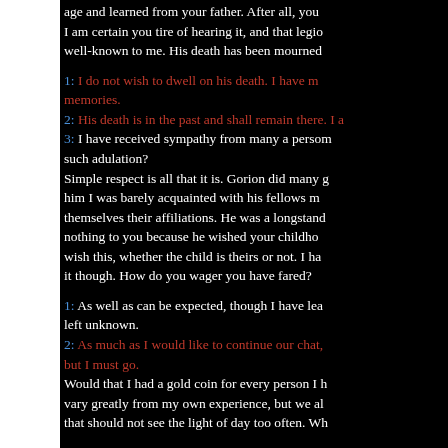age and learned from your father. After all, you... I am certain you tire of hearing it, and that legion well-known to me. His death has been mourned...
1: I do not wish to dwell on his death. I have m... memories.
2: His death is in the past and shall remain there. I a...
3: I have received sympathy from many a person... such adulation?
Simple respect is all that it is. Gorion did many g... him I was barely acquainted with his fellows m... themselves their affiliations. He was a longstand... nothing to you because he wished your childho... wish this, whether the child is theirs or not. I ha... it though. How do you wager you have fared?
1: As well as can be expected, though I have lea... left unknown.
2: As much as I would like to continue our chat,... but I must go.
Would that I had a gold coin for every person I h... vary greatly from my own experience, but we al... that should not see the light of day too often. Wh...